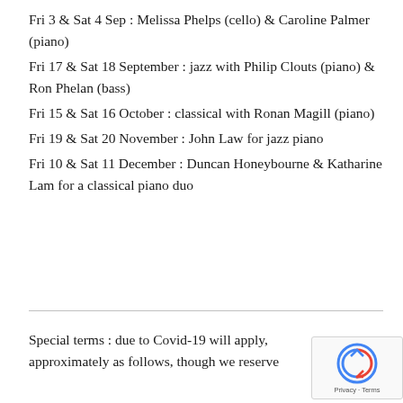Fri 3 & Sat 4 Sep : Melissa Phelps (cello) & Caroline Palmer (piano)
Fri 17 & Sat 18 September : jazz with Philip Clouts (piano) & Ron Phelan (bass)
Fri 15 & Sat 16 October : classical with Ronan Magill (piano)
Fri 19 & Sat 20 November : John Law for jazz piano
Fri 10 & Sat 11 December : Duncan Honeybourne & Katharine Lam for a classical piano duo
Special terms : due to Covid-19 will apply, approximately as follows, though we reserve